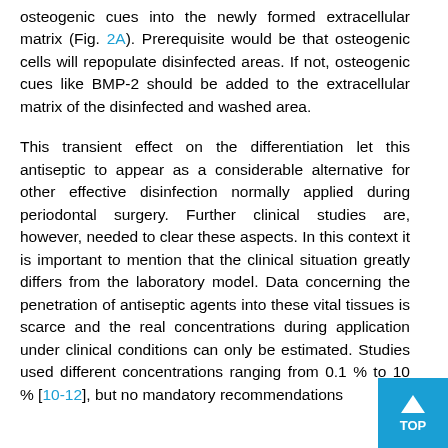osteogenic cues into the newly formed extracellular matrix (Fig. 2A). Prerequisite would be that osteogenic cells will repopulate disinfected areas. If not, osteogenic cues like BMP-2 should be added to the extracellular matrix of the disinfected and washed area.
This transient effect on the differentiation let this antiseptic to appear as a considerable alternative for other effective disinfection normally applied during periodontal surgery. Further clinical studies are, however, needed to clear these aspects. In this context it is important to mention that the clinical situation greatly differs from the laboratory model. Data concerning the penetration of antiseptic agents into these vital tissues is scarce and the real concentrations during application under clinical conditions can only be estimated. Studies used different concentrations ranging from 0.1 % to 10 % [10-12], but no mandatory recommendations